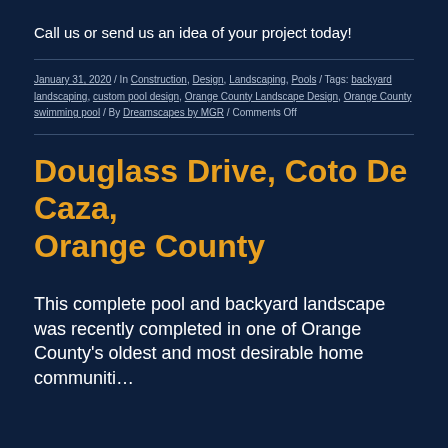Call us or send us an idea of your project today!
January 31, 2020 / In Construction, Design, Landscaping, Pools / Tags: backyard landscaping, custom pool design, Orange County Landscape Design, Orange County swimming pool / By Dreamscapes by MGR / Comments Off
Douglass Drive, Coto De Caza, Orange County
This complete pool and backyard landscape was recently completed in one of Orange County's oldest and most desirable home communities...